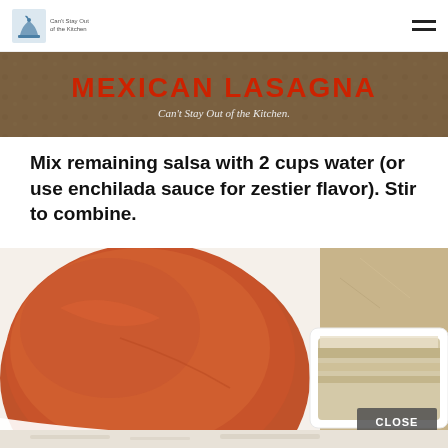Can't Stay Out of the Kitchen
[Figure (photo): Banner image showing Mexican Lasagna dish with text 'MEXICAN LASAGNA' in red and 'Can't Stay Out of the Kitchen' subtitle]
Mix remaining salsa with 2 cups water (or use enchilada sauce for zestier flavor). Stir to combine.
[Figure (photo): Close-up photo of red/orange enchilada sauce in a white bowl, with a baking dish containing layered lasagna visible in the background. A CLOSE button appears at the bottom right.]